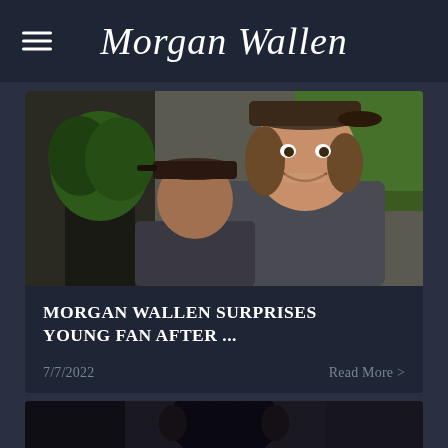Morgan Wallen
[Figure (photo): Morgan Wallen smiling with a young fan wearing a backwards cap, indoor setting with a plant in the background]
MORGAN WALLEN SURPRISES YOUNG FAN AFTER ...
7/7/2022
Read More >
[Figure (photo): Partial view of another article image showing a person with headphones]